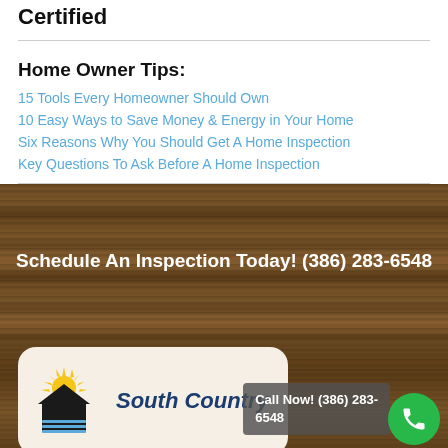Certified
Home Owner Tips:
15 Tools Every Homeowner Should Own
10 Easy Ways to Save Money & Energy in Your Home
Six Reasons Why You Should Get A Home Inspection
Key Questions To Ask Before A Home Inspection
Schedule An Inspection Today! (386) 283-6548
[Figure (logo): South Country home inspection company logo with sun and house icon]
Call Now! (386) 283-6548